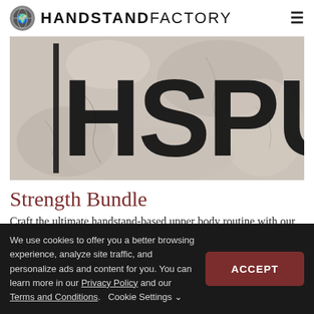HANDSTAND FACTORY
[Figure (photo): Hero image with peeling stone/paint texture background and large bold text 'HSPU' overlaid in black]
Strength Bundle
Craft the ultimate handstand-based upper body routine with our Strength Bundle. Press training for straight-arm
We use cookies to offer you a better browsing experience, analyze site traffic, and personalize ads and content for you. You can learn more in our Privacy Policy and our Terms and Conditions.   Cookie Settings ∨   ACCEPT